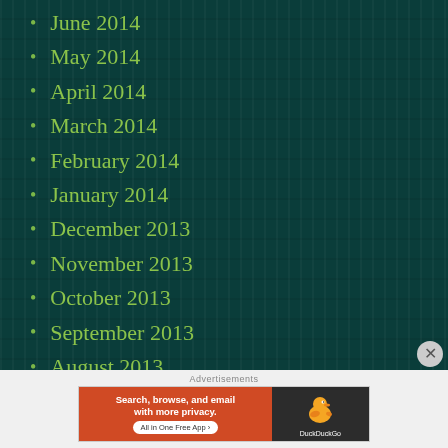June 2014
May 2014
April 2014
March 2014
February 2014
January 2014
December 2013
November 2013
October 2013
September 2013
August 2013
July 2013
June 2013
[Figure (infographic): DuckDuckGo advertisement banner: Search, browse, and email with more privacy. All in One Free App. Shows DuckDuckGo duck logo on dark background.]